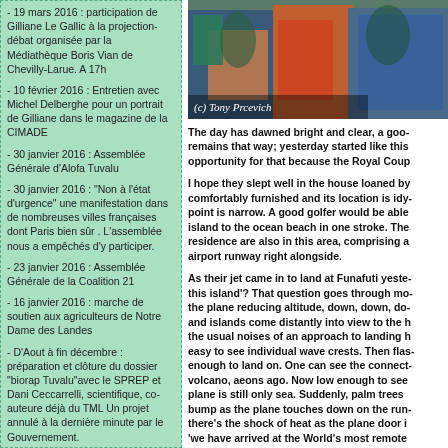- 19 mars 2016 : participation de Gilliane Le Gallic à la projection-débat organisée par la Médiathèque Boris Vian de Chevilly-Larue. A 17h
- 10 février 2016 : Entretien avec Michel Delberghe pour un portrait de Gilliane dans le magazine de la CIMADE
- 30 janvier 2016 : Assemblée Générale d'Alofa Tuvalu
- 30 janvier 2016 : "Non à l'état d'urgence" une manifestation dans de nombreuses villes françaises dont Paris bien sûr . L'assemblée nous a empêchés d'y participer.
- 23 janvier 2016 : Assemblée Générale de la Coalition 21
- 16 janvier 2016 : marche de soutien aux agriculteurs de Notre Dame des Landes
- D'Aout à fin décembre : préparation et clôture du dossier "biorap Tuvalu"avec le SPREP et Dani Ceccarrelli, scientifique, co-auteure déjà du TML Un projet annulé à la dernière minute par le Gouvernement.
[Figure (photo): Photo of people in colorful traditional dress, copyright Tony Prcevich]
The day has dawned bright and clear, a goo- remains that way; yesterday started like this opportunity for that because the Royal Coup
I hope they slept well in the house loaned by comfortably furnished and its location is idy- point is narrow. A good golfer would be able island to the ocean beach in one stroke. The residence are also in this area, comprising a airport runway right alongside.
As their jet came in to land at Funafuti yeste- this island'? That question goes through mo- the plane reducing altitude, down, down, do- and islands come distantly into view to the h the usual noises of an approach to landing h easy to see individual wave crests. Then flas- enough to land on. One can see the connect- volcano, aeons ago. Now low enough to see plane is still only sea. Suddenly, palm trees bump as the plane touches down on the run- there's the shock of heat as the plane door i 'we have arrived at the World's most remote
Well that was yesterday's experience for Wi- for the farewell ceremony.
[Figure (photo): Photo of palm trees landscape in Tuvalu]